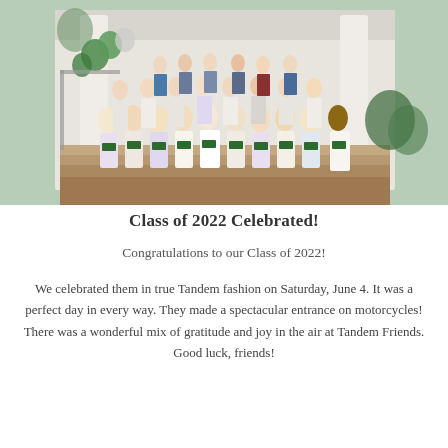[Figure (photo): Group photo of graduating Class of 2022 students standing on steps in front of a white-columned building, holding green diploma folders, dressed in white and light-colored outfits. Green balloons visible on left side.]
Class of 2022 Celebrated!
Congratulations to our Class of 2022!
We celebrated them in true Tandem fashion on Saturday, June 4. It was a perfect day in every way. They made a spectacular entrance on motorcycles! There was a wonderful mix of gratitude and joy in the air at Tandem Friends. Good luck, friends!